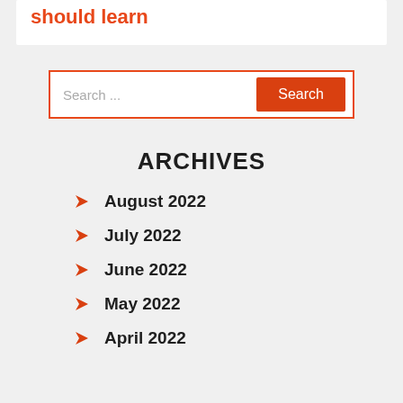should learn
[Figure (other): Search bar with text input placeholder 'Search ...' and orange 'Search' button, bordered in orange]
ARCHIVES
August 2022
July 2022
June 2022
May 2022
April 2022